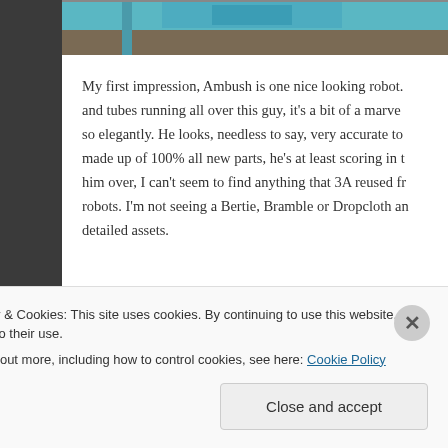[Figure (photo): Partial photo of a blue robot figure at the top of the page]
My first impression, Ambush is one nice looking robot. and tubes running all over this guy, it's a bit of a marve so elegantly. He looks, needless to say, very accurate to made up of 100% all new parts, he's at least scoring in t him over, I can't seem to find anything that 3A reused fr robots. I'm not seeing a Bertie, Bramble or Dropcloth an detailed assets.
Privacy & Cookies: This site uses cookies. By continuing to use this website, you agree to their use.
To find out more, including how to control cookies, see here: Cookie Policy